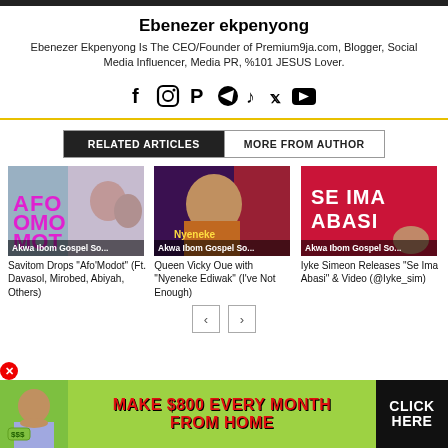Ebenezer ekpenyong
Ebenezer Ekpenyong Is The CEO/Founder of Premium9ja.com, Blogger, Social Media Influencer, Media PR, %101 JESUS Lover.
[Figure (infographic): Social media icons: Facebook, Instagram, Pinterest, Telegram, TikTok, Twitter, YouTube]
RELATED ARTICLES | MORE FROM AUTHOR
[Figure (photo): Savitom Drops Afo'Modot album art with group photo and text AFO OMO MOT. Label: Akwa Ibom Gospel So...]
[Figure (photo): Queen Vicky Oue smiling woman in traditional attire on dark background. Label: Akwa Ibom Gospel So...]
[Figure (photo): Se Ima Abasi red promotional graphic for Iyke Simeon. Label: Akwa Ibom Gospel So...]
Savitom Drops "Afo'Modot" (Ft. Davasol, Mirobed, Abiyah, Others)
Queen Vicky Oue with "Nyeneke Ediwak" (I've Not Enough)
Iyke Simeon Releases "Se Ima Abasi" & Video (@Iyke_sim)
[Figure (infographic): Advertisement banner: MAKE $800 EVERY MONTH FROM HOME - CLICK HERE with green background and person image]